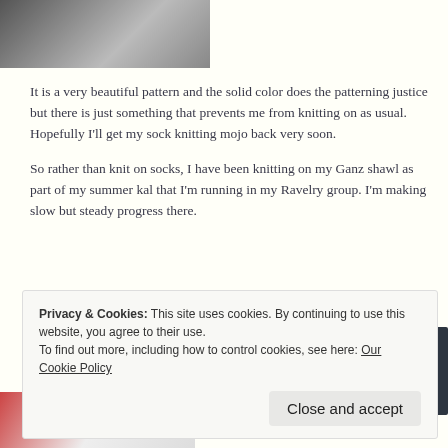[Figure (photo): Partial view of a knitted item, grayscale tones, top of page]
It is a very beautiful pattern and the solid color does the patterning justice but there is just something that prevents me from knitting on as usual. Hopefully I'll get my sock knitting mojo back very soon.
So rather than knit on socks, I have been knitting on my Ganz shawl as part of my summer kal that I'm running in my Ravelry group. I'm making slow but steady progress there.
[Figure (screenshot): WordPress advertisement banner: 'Discover new reads on the go. GET THE APP' with WordPress logo on dark background]
Privacy & Cookies: This site uses cookies. By continuing to use this website, you agree to their use.
To find out more, including how to control cookies, see here: Our Cookie Policy
[Figure (photo): Partial view of knitted fabric in red and white, bottom of page]